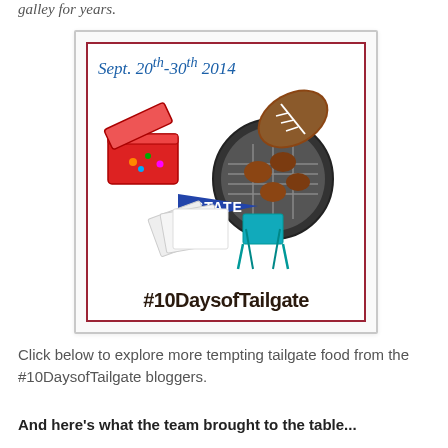galley for years.
[Figure (illustration): A tailgate party promotional badge image. Top text in blue cursive: 'Sept. 20th-30th 2014'. Center shows tailgate items: a red cooler with drinks, a grill with burgers and a football, a 'STATE' pennant flag, and a blue folding chair. Bottom bold text: '#10DaysofTailgate'.]
Click below to explore more tempting tailgate food from the #10DaysofTailgate bloggers.
And here's what the team brought to the table...